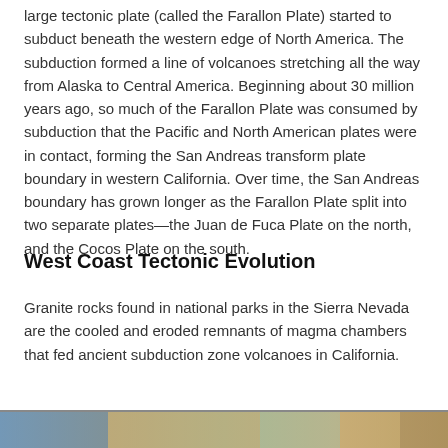large tectonic plate (called the Farallon Plate) started to subduct beneath the western edge of North America. The subduction formed a line of volcanoes stretching all the way from Alaska to Central America. Beginning about 30 million years ago, so much of the Farallon Plate was consumed by subduction that the Pacific and North American plates were in contact, forming the San Andreas transform plate boundary in western California. Over time, the San Andreas boundary has grown longer as the Farallon Plate split into two separate plates—the Juan de Fuca Plate on the north, and the Cocos Plate on the south.
West Coast Tectonic Evolution
Granite rocks found in national parks in the Sierra Nevada are the cooled and eroded remnants of magma chambers that fed ancient subduction zone volcanoes in California.
[Figure (photo): A strip of images showing geological/landscape photographs related to West Coast tectonic features, partially visible at the bottom of the page.]